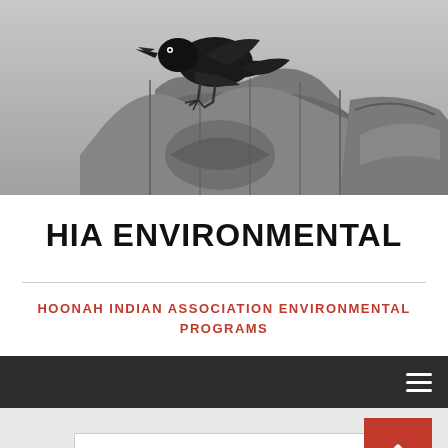[Figure (photo): Black and white photograph of a raven perched on top of a totem pole]
HIA ENVIRONMENTAL
HOONAH INDIAN ASSOCIATION ENVIRONMENTAL PROGRAMS
[Figure (screenshot): Dark navigation bar with hamburger menu icon on the right]
[Figure (screenshot): Search bar with placeholder text SEARCH ... and a red back-to-top button on the right]